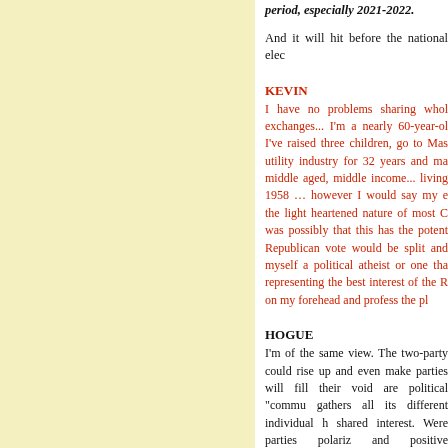period, especially 2021-2022.
And it will hit before the national elec
KEVIN
I have no problems sharing whol exchanges... I'm a nearly 60-year-ol I've raised three children, go to Mas utility industry for 32 years and ma middle aged, middle income... living 1958 ... however I would say my e the light heartened nature of most C was possibly that this has the potent Republican vote would be split and  myself a political atheist or one tha representing the best interest of the R on my forehead and profess the pl
HOGUE
I'm of the same view. The two-party could rise up and even make parties will fill their void are political "commu gathers all its different individual h shared interest. Were parties polariz and positive agreements, forge rel other, they seek to experience eac